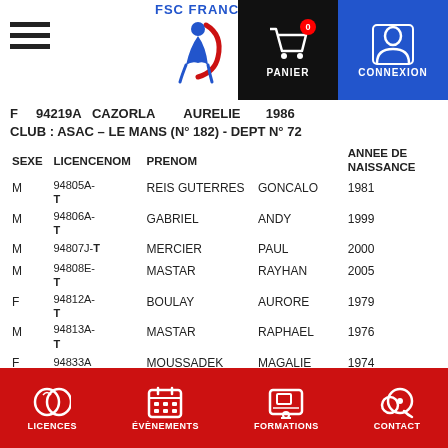FSC FRANCE
F  94219A  CAZORLA  AURELIE  1986
CLUB : ASAC – LE MANS (N° 182) - DEPT N° 72
| SEXE | LICENCENOM | PRENOM | ANNEE DE NAISSANCE |
| --- | --- | --- | --- |
| M | 94805A-T | REIS GUTERRES | GONCALO | 1981 |
| M | 94806A-T | GABRIEL | ANDY | 1999 |
| M | 94807J-T | MERCIER | PAUL | 2000 |
| M | 94808E-T | MASTAR | RAYHAN | 2005 |
| F | 94812A-T | BOULAY | AURORE | 1979 |
| M | 94813A-T | MASTAR | RAPHAEL | 1976 |
| F | 94833A | MOUSSADEK | MAGALIE | 1974 |
LICENCES  ÉVÈNEMENTS  FORMATIONS  CONTACT